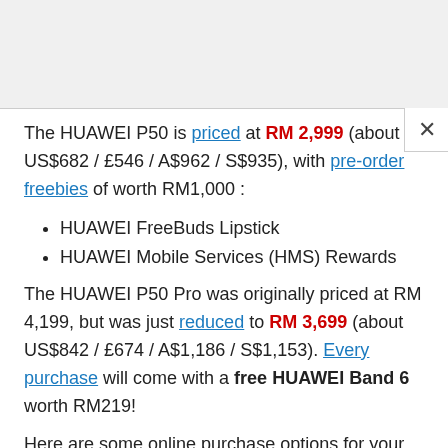The HUAWEI P50 is priced at RM 2,999 (about US$682 / £546 / A$962 / S$935), with pre-order freebies of worth RM1,000 :
HUAWEI FreeBuds Lipstick
HUAWEI Mobile Services (HMS) Rewards
The HUAWEI P50 Pro was originally priced at RM 4,199, but was just reduced to RM 3,699 (about US$842 / £674 / A$1,186 / S$1,153). Every purchase will come with a free HUAWEI Band 6 worth RM219!
Here are some online purchase options for your convenience :